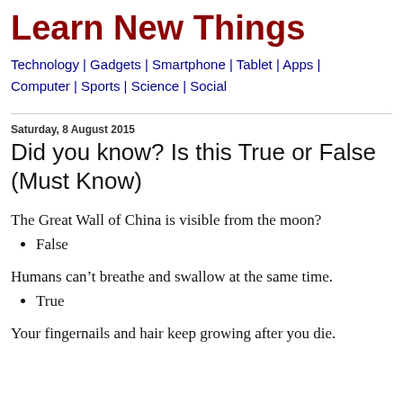Learn New Things
Technology | Gadgets | Smartphone | Tablet | Apps | Computer | Sports | Science | Social
Saturday, 8 August 2015
Did you know? Is this True or False (Must Know)
The Great Wall of China is visible from the moon?
False
Humans can’t breathe and swallow at the same time.
True
Your fingernails and hair keep growing after you die.